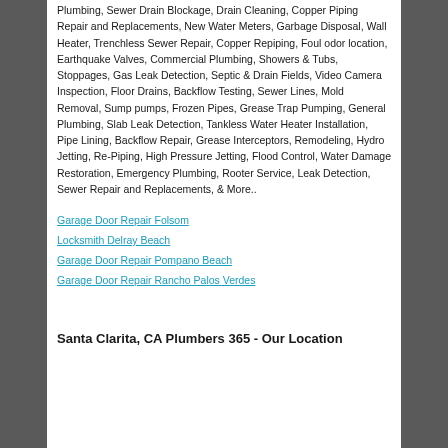Plumbing, Sewer Drain Blockage, Drain Cleaning, Copper Piping Repair and Replacements, New Water Meters, Garbage Disposal, Wall Heater, Trenchless Sewer Repair, Copper Repiping, Foul odor location, Earthquake Valves, Commercial Plumbing, Showers & Tubs, Stoppages, Gas Leak Detection, Septic & Drain Fields, Video Camera Inspection, Floor Drains, Backflow Testing, Sewer Lines, Mold Removal, Sump pumps, Frozen Pipes, Grease Trap Pumping, General Plumbing, Slab Leak Detection, Tankless Water Heater Installation, Pipe Lining, Backflow Repair, Grease Interceptors, Remodeling, Hydro Jetting, Re-Piping, High Pressure Jetting, Flood Control, Water Damage Restoration, Emergency Plumbing, Rooter Service, Leak Detection, Sewer Repair and Replacements, & More..
Garage Door Repair Folsom
Locksmith Delray Beach
Garage Door Repair Pompano Beach
Garage Door Repair Rancho Palos Verdes
Santa Clarita, CA Plumbers 365 - Our Location